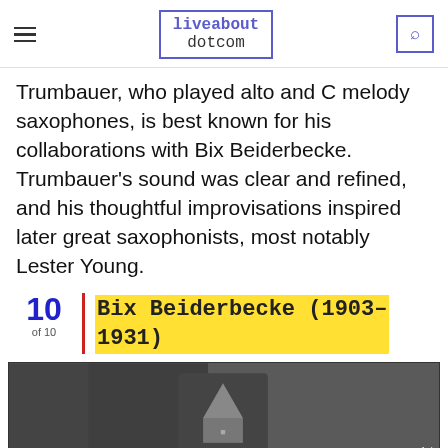liveabout dotcom
Trumbauer, who played alto and C melody saxophones, is best known for his collaborations with Bix Beiderbecke. Trumbauer's sound was clear and refined, and his thoughtful improvisations inspired later great saxophonists, most notably Lester Young.
10 of 10 | Bix Beiderbecke (1903–1931)
[Figure (photo): Black and white historical photo, partially visible, showing a dark grayscale scene with a shield-like emblem visible in the center.]
We help people find answers, solve problems and get inspired. Dotdash meredith